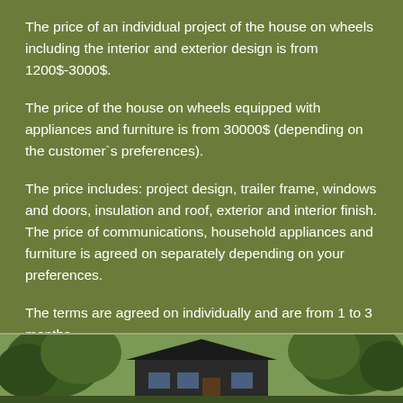The price of an individual project of the house on wheels including the interior and exterior design is from 1200$-3000$.
The price of the house on wheels equipped with appliances and furniture is from 30000$ (depending on the customer`s preferences).
The price includes: project design, trailer frame, windows and doors, insulation and roof, exterior and interior finish. The price of communications, household appliances and furniture is agreed on separately depending on your preferences.
The terms are agreed on individually and are from 1 to 3 months.
[Figure (photo): Photo of a house on wheels surrounded by trees and greenery, partially visible at the bottom of the page.]